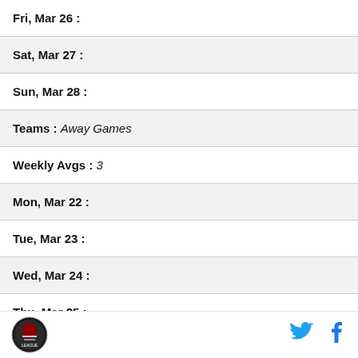Fri, Mar 26 :
Sat, Mar 27 :
Sun, Mar 28 :
Teams : Away Games
Weekly Avgs : 3
Mon, Mar 22 :
Tue, Mar 23 :
Wed, Mar 24 :
Thu, Mar 25 :
Fri, Mar 26 :
Sat, Mar 27 :
[Figure (logo): Sports league circular logo with mascot]